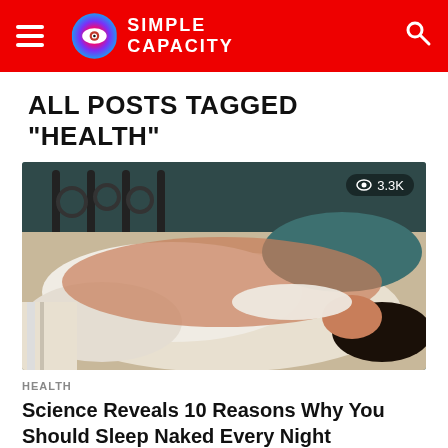SIMPLE CAPACITY
ALL POSTS TAGGED "HEALTH"
[Figure (photo): Person sleeping naked in bed, wrapped in white sheets with a black ornate metal headboard, view count badge showing 3.3K]
HEALTH
Science Reveals 10 Reasons Why You Should Sleep Naked Every Night
The idea borders on outrageous and therefore a very small part of the American population (8%) sleeps naked, but it is mostly...